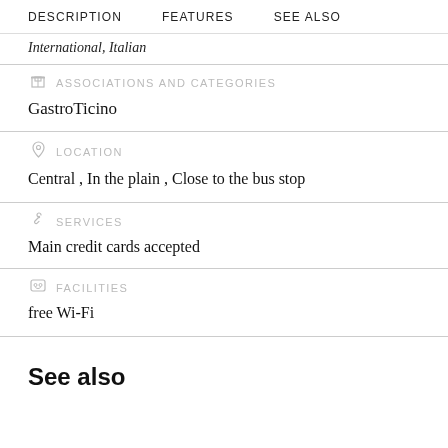DESCRIPTION   FEATURES   SEE ALSO
International, Italian
ASSOCIATIONS AND CATEGORIES
GastroTicino
LOCATION
Central , In the plain , Close to the bus stop
SERVICES
Main credit cards accepted
FACILITIES
free Wi-Fi
See also